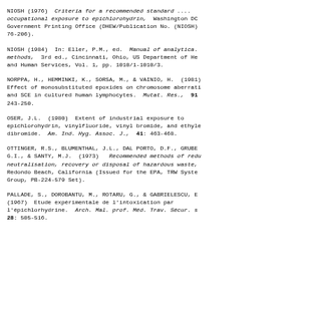NIOSH (1976)  Criteria for a recommended standard .... occupational exposure to epichlorohydrin,  Washington DC Government Printing Office (DHEW/Publication No. (NIOSH) 76-206).
NIOSH (1984)  In: Eller, P.M., ed.  Manual of analytical methods,  3rd ed., Cincinnati, Ohio, US Department of He and Human Services, Vol. 1, pp. 1010/1-1010/3.
NORPPA, H., HEMMINKI, K., SORSA, M., & VAINIO, H.  (1981) Effect of monosubstituted epoxides on chromosome aberrati and SCE in cultured human lymphocytes.  Mutat. Res.,  91 243-250.
OSER, J.L.  (1980)  Extent of industrial exposure to epichlorohydrin, vinylfluoride, vinyl bromide, and ethyle dibromide.  Am. Ind. Hyg. Assoc. J.,  41: 463-468.
OTTINGER, R.S., BLUMENTHAL, J.L., DAL PORTO, D.F., GRUBE G.I., & SANTY, M.J.  (1973)   Recommended methods of redu neutralisation, recovery or disposal of hazardous waste, Redondo Beach, California (Issued for the EPA, TRW Syste Group, PB-224-579 Set).
PALLADE, S., DOROBANTU, M., ROTARU, G., & GABRIELESCU, E (1967)  Etude expérimentale de l'intoxication par l'épichlorhydrine.  Arch. Mal. prof. Méd. Trav. Sécur. s 28: 505-516.